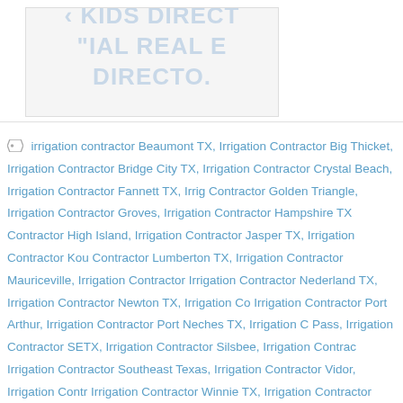[Figure (other): Image placeholder with watermark text reading 'KIDS DIRECT IAL REAL E DIRECTO' in light blue/grey diagonal text on light grey background]
irrigation contractor Beaumont TX, Irrigation Contractor Big Thicket, Irrigation Contractor Bridge City TX, Irrigation Contractor Crystal Beach, Irrigation Contractor Fannett TX, Irrigation Contractor Golden Triangle, Irrigation Contractor Groves, Irrigation Contractor Hampshire TX, Irrigation Contractor High Island, Irrigation Contractor Jasper TX, Irrigation Contractor Kountze, Irrigation Contractor Lumberton TX, Irrigation Contractor Mauriceville, Irrigation Contractor Mid County TX, Irrigation Contractor Nederland TX, Irrigation Contractor Newton TX, Irrigation Contractor Orange TX, Irrigation Contractor Port Arthur, Irrigation Contractor Port Neches TX, Irrigation Contractor Rollover Pass, Irrigation Contractor SETX, Irrigation Contractor Silsbee, Irrigation Contractor Southeast Texas SETX, Irrigation Contractor Southeast Texas, Irrigation Contractor Vidor, Irrigation Contractor Winnie TX, Irrigation Contractor Woodville TX, Landscaping Beaumont TX, landscaping Bridge City Tx, landscaping Crystal Beach, landscaping Golden Triangle, landscaping Groves, landscaping High Island, landscaping Mid County, landscaping Nederland, landscaping Port Arthur, landscaping Port Neches Tx, landscaping Rollover Pass, landscaping Southeast Texas, US Lawns Beaumont, US Lawns Golden Triangle, US Lawns Port Arthur SETX, US Lawns Southeast Texas
About Daryl Fant
View all posts by Daryl Fant →